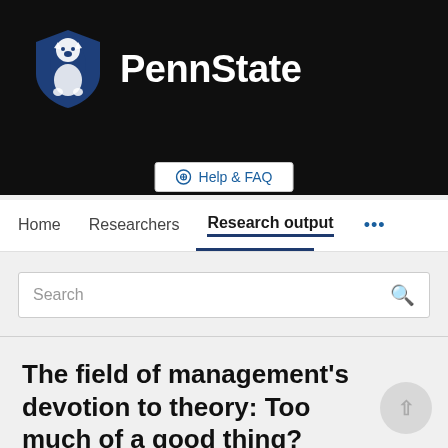[Figure (logo): Penn State university logo with lion shield on black background, with 'PennState' text in white]
Help & FAQ
Home   Researchers   Research output   ...
Search
The field of management's devotion to theory: Too much of a good thing?